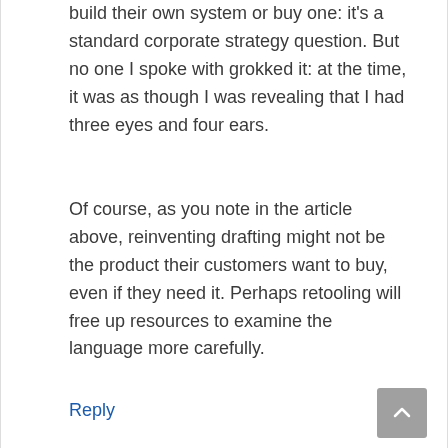build their own system or buy one: it's a standard corporate strategy question. But no one I spoke with grokked it: at the time, it was as though I was revealing that I had three eyes and four ears.
Of course, as you note in the article above, reinventing drafting might not be the product their customers want to buy, even if they need it. Perhaps retooling will free up resources to examine the language more carefully.
Reply